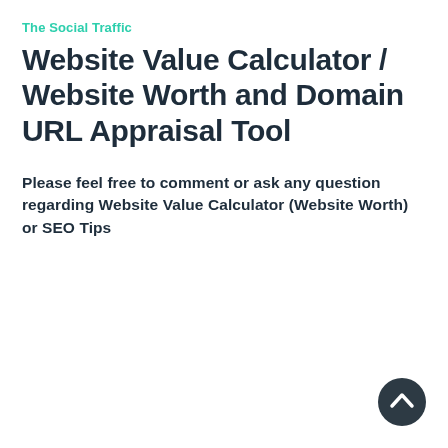The Social Traffic
Website Value Calculator / Website Worth and Domain URL Appraisal Tool
Please feel free to comment or ask any question regarding Website Value Calculator (Website Worth) or SEO Tips